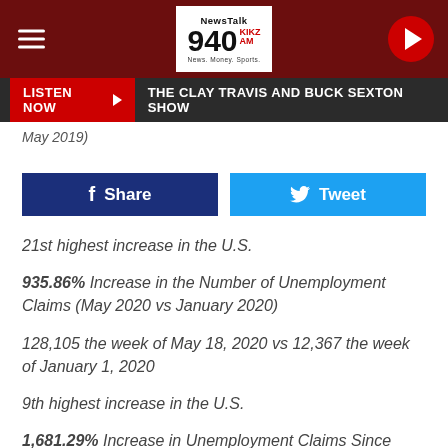[Figure (screenshot): NewsTalk 940 AM radio station header bar with hamburger menu on left, logo in center, and play button on right]
[Figure (screenshot): Listen Now button bar with red LISTEN NOW button and text 'THE CLAY TRAVIS AND BUCK SEXTON SHOW' on dark background]
May 2019)
[Figure (screenshot): Facebook Share and Twitter Tweet social sharing buttons]
21st highest increase in the U.S.
935.86% Increase in the Number of Unemployment Claims (May 2020 vs January 2020)
128,105 the week of May 18, 2020 vs 12,367 the week of January 1, 2020
9th highest increase in the U.S.
1,681.29% Increase in Unemployment Claims Since